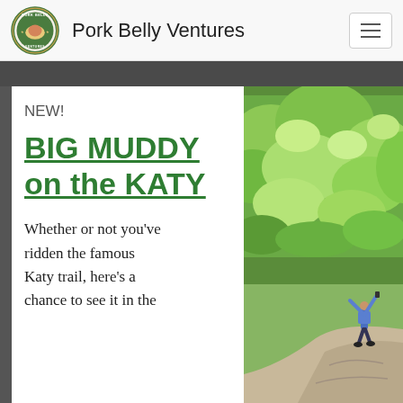Pork Belly Ventures
NEW!
BIG MUDDY on the KATY
Whether or not you've ridden the famous Katy trail, here's a chance to see it in the
[Figure (photo): A person standing on a rocky overlook with arms raised, surrounded by lush green forest, viewed from above.]